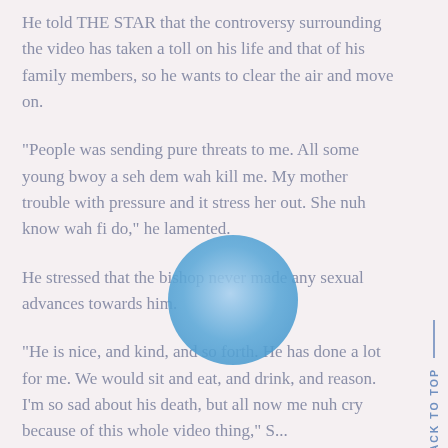He told THE STAR that the controversy surrounding the video has taken a toll on his life and that of his family members, so he wants to clear the air and move on.
"People was sending pure threats to me. All some young bwoy a seh dem wah kill me. My mother trouble with pressure and it stress her out. She nuh know wah fi do," he lamented.
He stressed that the bishop never made any sexual advances towards him.
"He is nice, and kind, and so forth. He has done a lot for me. We would sit and eat, and drink, and reason. I'm so sad about his death, but all now me nuh cry because of this whole video thing," S...